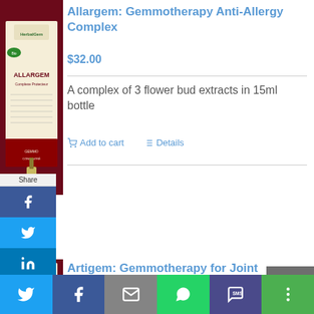Allargem: Gemmotherapy Anti-Allergy Complex
$32.00
A complex of 3 flower bud extracts in 15ml bottle
Add to cart   Details
[Figure (photo): HerbalGem Allargem product box, red packaging with gold label]
Artigem: Gemmotherapy for Joint Problems
[Figure (photo): HerbalGem Artigem product box, partially visible]
[Figure (infographic): Social share sidebar with Facebook, Twitter, LinkedIn, Email, Share, Pinterest buttons]
[Figure (infographic): Bottom share bar with Twitter, Facebook, Email, WhatsApp, SMS, More buttons]